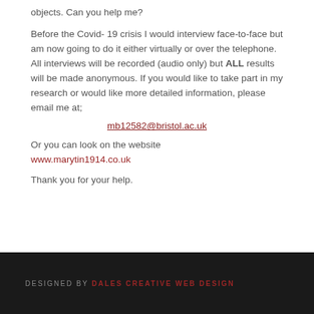objects.  Can you help me?
Before the Covid- 19 crisis I would interview face-to-face but am now going to do it either virtually or over the telephone.  All interviews will be recorded (audio only) but ALL results will be made anonymous.  If you would like to take part in my research or would like more detailed information, please email me at;
mb12582@bristol.ac.uk
Or you can look on the website
www.marytin1914.co.uk

Thank you for your help.
DESIGNED BY DALES CREATIVE WEB DESIGN